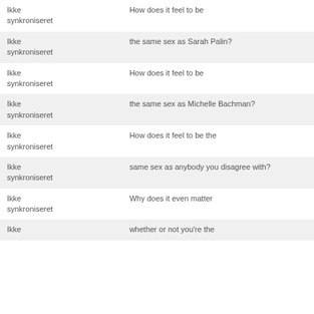| Ikke synkroniseret | How does it feel to be |
| Ikke synkroniseret | the same sex as Sarah Palin? |
| Ikke synkroniseret | How does it feel to be |
| Ikke synkroniseret | the same sex as Michelle Bachman? |
| Ikke synkroniseret | How does it feel to be the |
| Ikke synkroniseret | same sex as anybody you disagree with? |
| Ikke synkroniseret | Why does it even matter |
| Ikke | whether or not you're the |